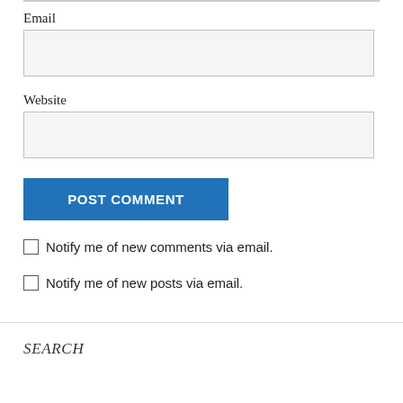Email
[Figure (screenshot): Empty text input field for Email]
Website
[Figure (screenshot): Empty text input field for Website]
POST COMMENT
Notify me of new comments via email.
Notify me of new posts via email.
SEARCH